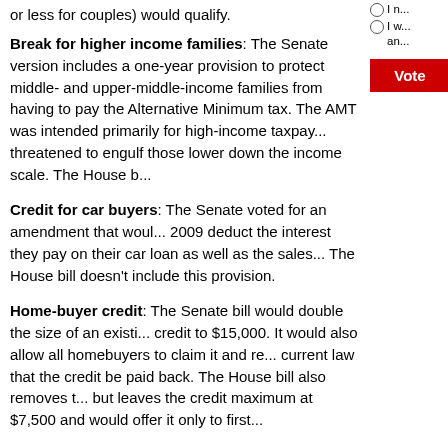or less for couples) would qualify.
Break for higher income families: The Senate version includes a one-year provision to protect middle- and upper-middle-income families from having to pay the Alternative Minimum tax. The AMT was intended primarily for high-income taxpayers but has threatened to engulf those lower down the income scale. The House b...
Credit for car buyers: The Senate voted for an amendment that would let people who buy cars in 2009 deduct the interest they pay on their car loan as well as the sales tax they paid. The House bill doesn't include this provision.
Home-buyer credit: The Senate bill would double the size of an existing home-buyer credit to $15,000. It would also allow all homebuyers to claim it and remove the requirement in current law that the credit be paid back. The House bill also removes the payback requirement but leaves the credit maximum at $7,500 and would offer it only to first...
Child-care credit: Both the Senate and House would expand the eligibility for the child-care tax credit, so that lower income families could claim more of it. Bu... smaller.
Direct spending